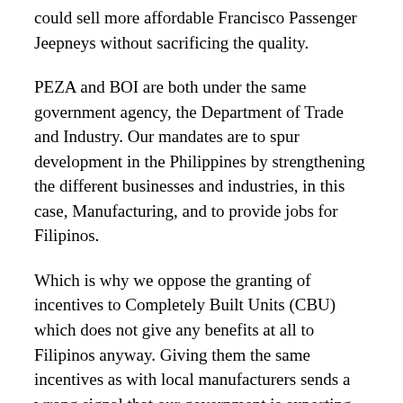could sell more affordable Francisco Passenger Jeepneys without sacrificing the quality.
PEZA and BOI are both under the same government agency, the Department of Trade and Industry. Our mandates are to spur development in the Philippines by strengthening the different businesses and industries, in this case, Manufacturing, and to provide jobs for Filipinos.
Which is why we oppose the granting of incentives to Completely Built Units (CBU) which does not give any benefits at all to Filipinos anyway. Giving them the same incentives as with local manufacturers sends a wrong signal that our government is exporting jobs that are supposed to be for Filipinos at home. As if naman maganda at matibay ang units nila diba? Mas maganda at mas matibay pa ang gawang pinoy on a Japanese platform. Hanggang ngayon nga gamit pa ng mga operators ang Francisco Jeepney with Japanese powertrains. But we all